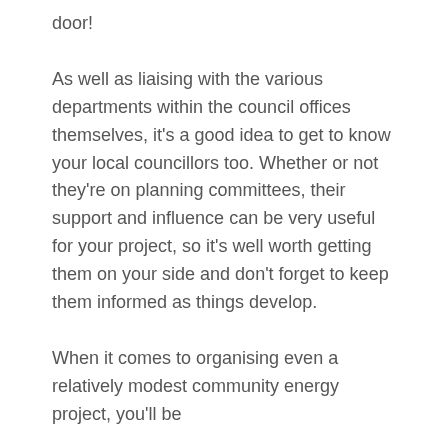door!
As well as liaising with the various departments within the council offices themselves, it's a good idea to get to know your local councillors too. Whether or not they're on planning committees, their support and influence can be very useful for your project, so it's well worth getting them on your side and don't forget to keep them informed as things develop.
When it comes to organising even a relatively modest community energy project, you'll be